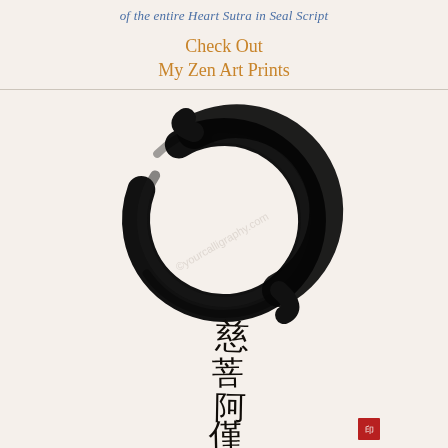of the entire Heart Sutra in Seal Script
Check Out
My Zen Art Prints
[Figure (illustration): Zen enso circle (brushstroke circle) in black ink above vertical column of Chinese/Japanese calligraphy characters, with a small red seal stamp in the lower right. Watermark text is visible across the image.]